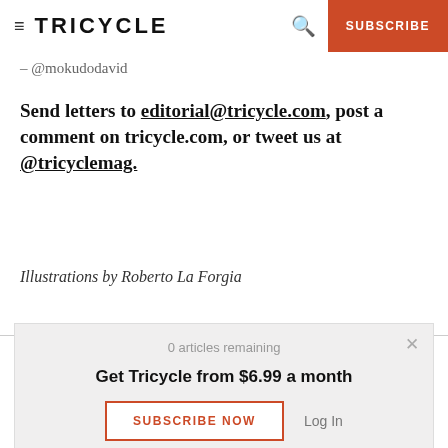≡ TRICYCLE  🔍  SUBSCRIBE
– @mokudodavid
Send letters to editorial@tricycle.com, post a comment on tricycle.com, or tweet us at @tricyclemag.
Illustrations by Roberto La Forgia
0 articles remaining
Get Tricycle from $6.99 a month
SUBSCRIBE NOW    Log In
reach out on lineage. Tricycle provides a publi-